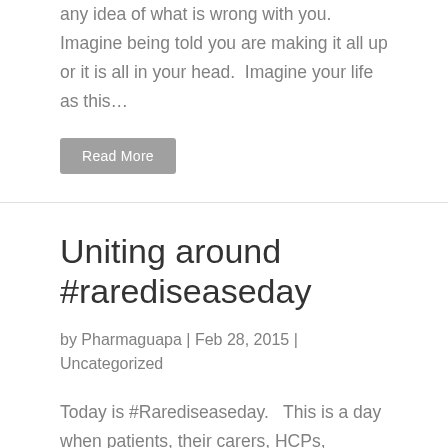any idea of what is wrong with you. Imagine being told you are making it all up or it is all in your head.  Imagine your life as this…
Read More
Uniting around #rarediseaseday
by Pharmaguapa | Feb 28, 2015 | Uncategorized
Today is #Rarediseaseday.   This is a day when patients, their carers, HCPs, governments, NGOs and industry unite in raising awareness around rare diseases.  I